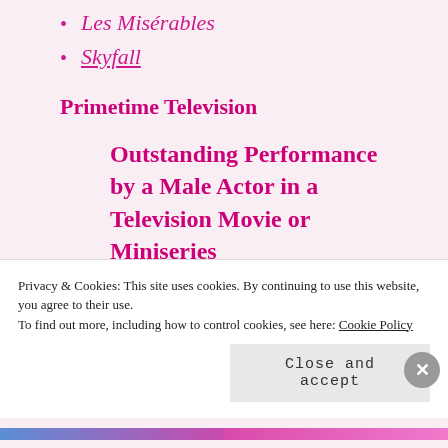Les Misérables
Skyfall
Primetime Television
Outstanding Performance by a Male Actor in a Television Movie or Miniseries
Kevin Costner por su papel en Hatfields & McCoys
Privacy & Cookies: This site uses cookies. By continuing to use this website, you agree to their use. To find out more, including how to control cookies, see here: Cookie Policy
Close and accept